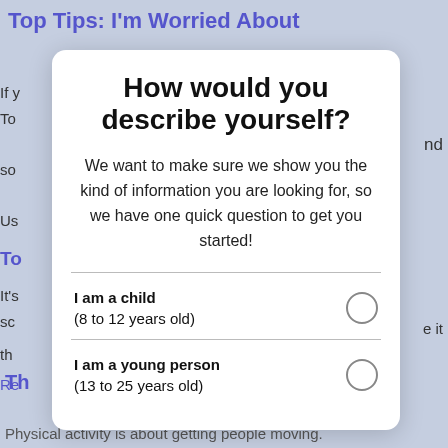Top Tips: I'm Worried About
How would you describe yourself?
We want to make sure we show you the kind of information you are looking for, so we have one quick question to get you started!
I am a child (8 to 12 years old)
I am a young person (13 to 25 years old)
Physical activity is about getting people moving.